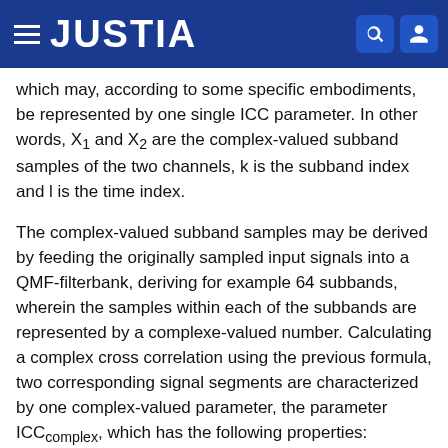JUSTIA
which may, according to some specific embodiments, be represented by one single ICC parameter. In other words, X₁ and X₂ are the complex-valued subband samples of the two channels, k is the subband index and l is the time index.
The complex-valued subband samples may be derived by feeding the originally sampled input signals into a QMF-filterbank, deriving for example 64 subbands, wherein the samples within each of the subbands are represented by a complexe-valued number. Calculating a complex cross correlation using the previous formula, two corresponding signal segments are characterized by one complex-valued parameter, the parameter ICC₀complex, which has the following properties:
Its length |ICC complex| represents the coherence of the two signals. The longer the vector, the more statistical